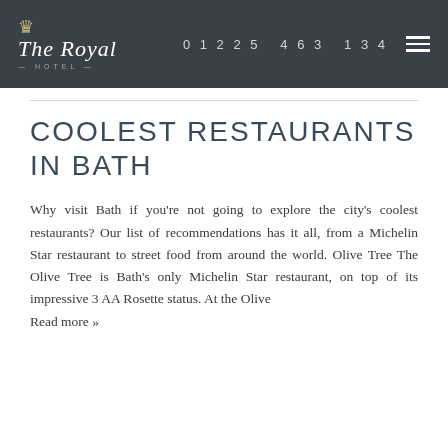The Royal Hotel | 01225 463 134
COOLEST RESTAURANTS IN BATH
Why visit Bath if you're not going to explore the city's coolest restaurants? Our list of recommendations has it all, from a Michelin Star restaurant to street food from around the world. Olive Tree The Olive Tree is Bath's only Michelin Star restaurant, on top of its impressive 3 AA Rosette status. At the Olive Read more »